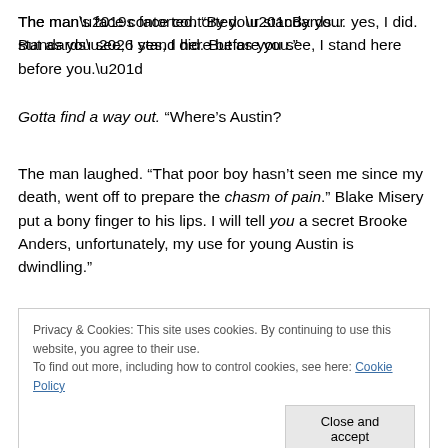The man’s face contorted. “By your standards… yes, I did. But as you see, I stand here before you.”
Gotta find a way out. “Where’s Austin?
The man laughed. “That poor boy hasn’t seen me since my death, went off to prepare the chasm of pain.” Blake Misery put a bony finger to his lips. I will tell you a secret Brooke Anders, unfortunately, my use for young Austin is dwindling.”
Privacy & Cookies: This site uses cookies. By continuing to use this website, you agree to their use. To find out more, including how to control cookies, see here: Cookie Policy